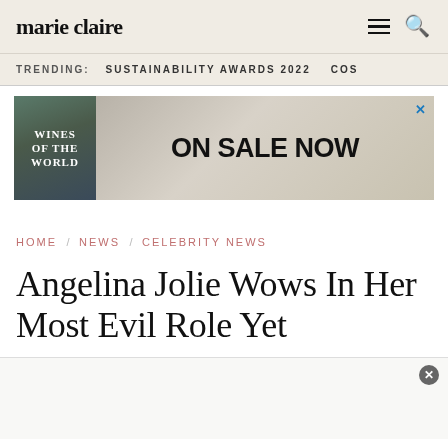marie claire
TRENDING:   SUSTAINABILITY AWARDS 2022   COS
[Figure (other): Advertisement banner: 'Wines of the World' book cover on left with dark background and white text, 'ON SALE NOW' text in bold on the right side with a close (x) button in the top right corner.]
HOME / NEWS / CELEBRITY NEWS
Angelina Jolie Wows In Her Most Evil Role Yet
[Figure (other): Bottom advertisement placeholder area with a circular close button (x) in the upper right corner.]